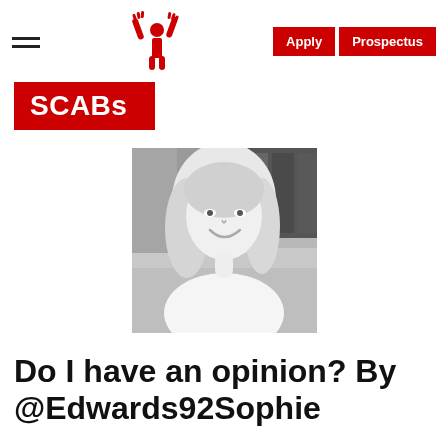SCABs — Apply | Prospectus
[Figure (photo): Black and white portrait photo of a young woman with blonde hair, smiling]
Do I have an opinion? By @Edwards92Sophie